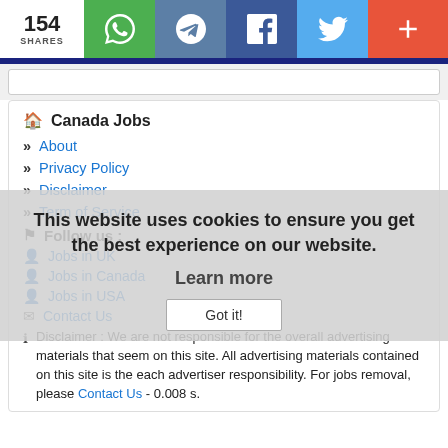154 SHARES | WhatsApp | Telegram | Facebook | Twitter | More
Canada Jobs
About
Privacy Policy
Disclaimer
Term of Service
Follow us :
Jobs in UK
Jobs in Canada
Jobs in USA
Contact Us
Disclaimer : We are not responsible for the overall advertising materials that seem on this site. All advertising materials contained on this site is the each advertiser responsibility. For jobs removal, please Contact Us - 0.008 s.
This website uses cookies to ensure you get the best experience on our website. Learn more